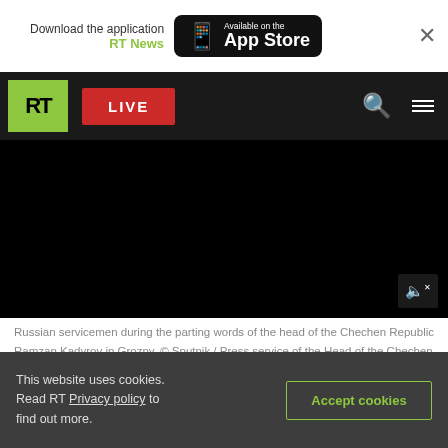Download the application RT News — Available on the App Store
[Figure (screenshot): RT news website navigation bar with green RT logo, red LIVE button, search icon and menu icon on dark background]
[Figure (screenshot): Black video player area with mute button in bottom right corner]
Russian servicemen during the parting words of the head of the Chechen Republic Ramzan Kadyrov in Grozny. © Sputnik / Press service of the Head of the Chechen Republic
Thousands of men from Chechnya are willing to offer assistance to Russia's armed forces, the
This website uses cookies. Read RT Privacy policy to find out more.